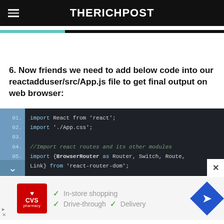THERICHPOST
6. Now friends we need to add below code into our reactadduser/src/App.js file to get final output on web browser:
[Figure (screenshot): Code editor screenshot showing lines 01-05 of App.js with imports: import React from 'react'; import './App.css'; //Import react routes and its other modules import {BrowserRouter as Router, Switch, Route, Link} from 'react-router-dom';]
[Figure (screenshot): CVS Pharmacy advertisement banner showing In-store shopping, Drive-through, and Delivery options]